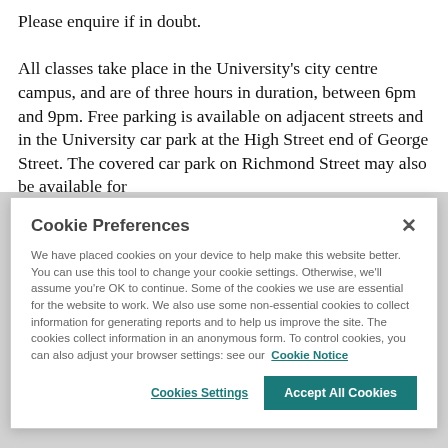Please enquire if in doubt.

All classes take place in the University's city centre campus, and are of three hours in duration, between 6pm and 9pm. Free parking is available on adjacent streets and in the University car park at the High Street end of George Street. The covered car park on Richmond Street may also be available for
Cookie Preferences
We have placed cookies on your device to help make this website better. You can use this tool to change your cookie settings. Otherwise, we'll assume you're OK to continue. Some of the cookies we use are essential for the website to work. We also use some non-essential cookies to collect information for generating reports and to help us improve the site. The cookies collect information in an anonymous form. To control cookies, you can also adjust your browser settings: see our Cookie Notice